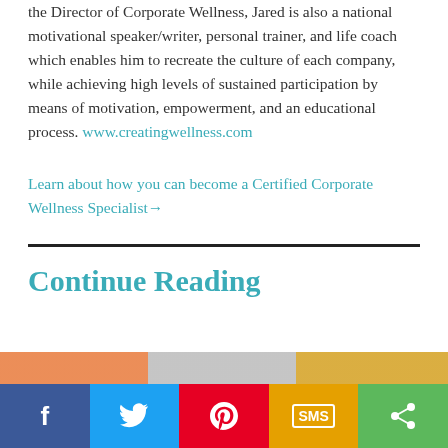the Director of Corporate Wellness, Jared is also a national motivational speaker/writer, personal trainer, and life coach which enables him to recreate the culture of each company, while achieving high levels of sustained participation by means of motivation, empowerment, and an educational process. www.creatingwellness.com
Learn about how you can become a Certified Corporate Wellness Specialist→
Continue Reading